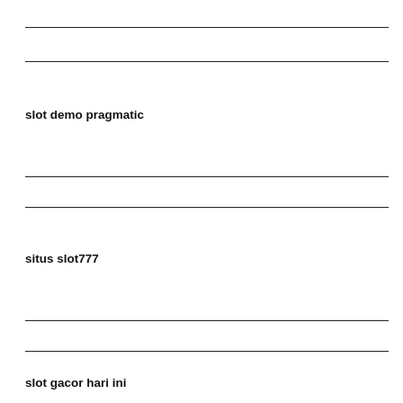slot demo pragmatic
situs slot777
slot gacor hari ini